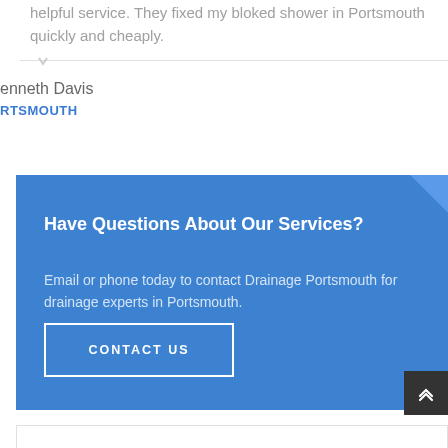helpful service. They fixed my bloked shower in Portsmouth quickly and cheaply.
enneth Davis
RTSMOUTH
Have Questions About Our Services?
Email or phone today to contact Drainage Portsmouth for drainage experts in Portsmouth.
CONTACT US